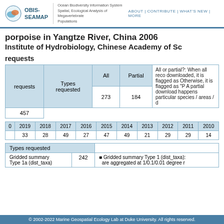OBIS-SEAMAP | Ocean Biodiversity Information System Spatial, Ecological Analysis of Megavertebrate Populations | ABOUT | CONTRIBUTE | WHAT'S NEW | MORE
porpoise in Yangtze River, China 2006
Institute of Hydrobiology, Chinese Academy of Sc
requests
| requests | Types requested | All | Partial | Description |
| --- | --- | --- | --- | --- |
| 457 |  | 273 | 184 | All or partial?: When all reco downloaded, it is flagged as Otherwise, it is flagged as "P A partial download happens particular species / areas / d |
| 0 | 2019 | 2018 | 2017 | 2016 | 2015 | 2014 | 2013 | 2012 | 2011 | 2010 |
| --- | --- | --- | --- | --- | --- | --- | --- | --- | --- | --- |
| 33 | 28 | 49 | 27 | 47 | 49 | 21 | 29 | 29 | 14 |
| Types requested |  |
| --- | --- |
| Gridded summary Type 1a (dist_taxa) | 242 | Gridded summary Type 1 (dist_taxa): are aggregated at 1/0.1/0.01 degree r |
© 2002-2022 Marine Geospatial Ecology Lab at Duke University. All rights reserved.